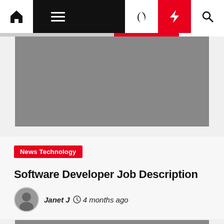Navigation bar with home, menu, moon, lightning, search icons
[Figure (photo): Gray placeholder image block at top of article]
News Technology
Software Developer Job Description
Janet J  4 months ago
[Figure (photo): Gray placeholder image block at bottom of page]